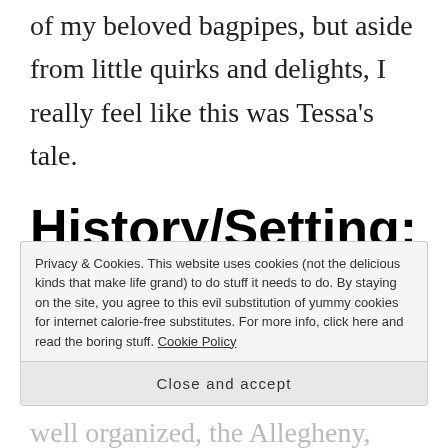of my beloved bagpipes, but aside from little quirks and delights, I really feel like this was Tessa's tale.
History/Setting:
Set in Pennsylvania during the years before the War for Independence, we're
Privacy & Cookies. This website uses cookies (not the delicious kinds that make life grand) to do stuff it needs to do. By staying on the site, you agree to this evil substitution of yummy cookies for internet calorie-free substitutes. For more info, click here and read the boring stuff. Cookie Policy
Close and accept
well organized, the Allegheny, into the